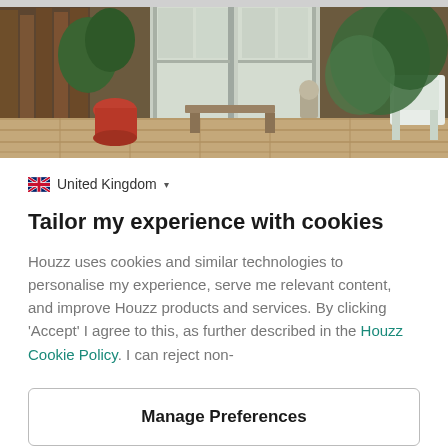[Figure (photo): Outdoor patio/garden photo showing paving stones, French doors, garden furniture and plants]
🇬🇧 United Kingdom ▾
Tailor my experience with cookies
Houzz uses cookies and similar technologies to personalise my experience, serve me relevant content, and improve Houzz products and services. By clicking 'Accept' I agree to this, as further described in the Houzz Cookie Policy. I can reject non-
Manage Preferences
Accept